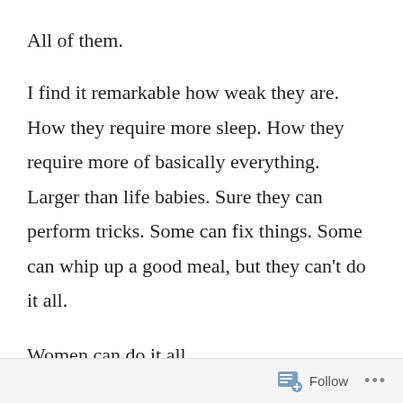All of them.
I find it remarkable how weak they are. How they require more sleep. How they require more of basically everything. Larger than life babies. Sure they can perform tricks. Some can fix things. Some can whip up a good meal, but they can’t do it all.
Women can do it all.
Follow ...